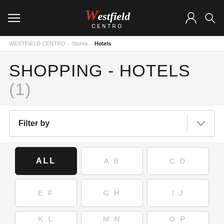Westfield Centro
WESTFIELD CENTRO > Stores > Hotels
SHOPPING - HOTELS (1)
Filter by
ALL
A B
C D
E F
G H
I J
K L
M N
O P